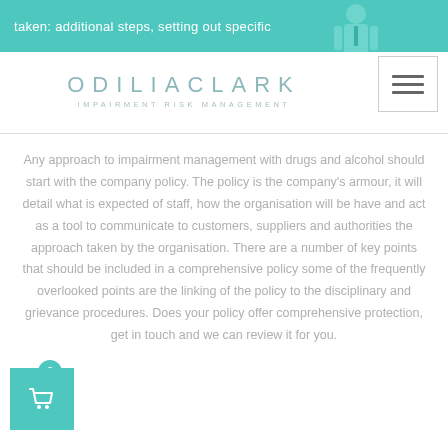taken: additional steps, setting out specific
[Figure (logo): OdiliaClark Impairment Risk Management logo]
Any approach to impairment management with drugs and alcohol should start with the company policy. The policy is the company's armour, it will detail what is expected of staff, how the organisation will be have and act as a tool to communicate to customers, suppliers and authorities the approach taken by the organisation. There are a number of key points that should be included in a comprehensive policy some of the frequently overlooked points are the linking of the policy to the disciplinary and grievance procedures. Does your policy offer comprehensive protection, get in touch and we can review it for you.